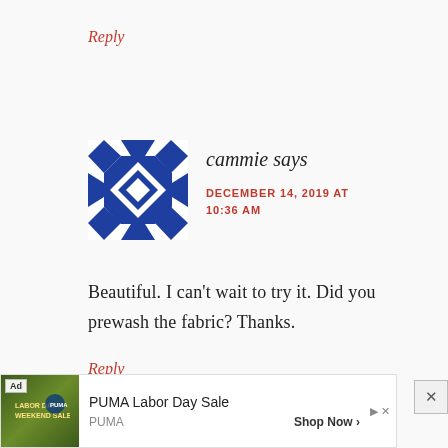Reply
[Figure (logo): Blue geometric quilt-pattern avatar icon made of diamond/chevron shapes arranged in a square pattern]
cammie says
DECEMBER 14, 2019 AT 10:36 AM
Beautiful. I can't wait to try it. Did you prewash the fabric? Thanks.
Reply
[Figure (other): PUMA Labor Day Sale advertisement banner with image of athletes and Shop Now button]